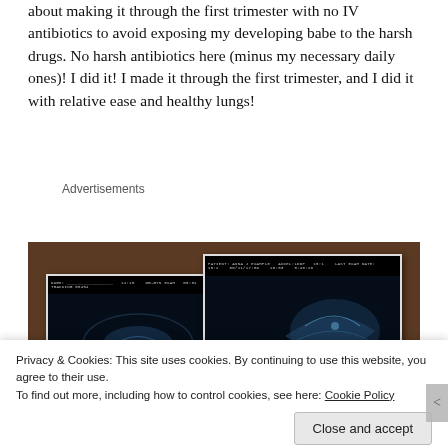about making it through the first trimester with no IV antibiotics to avoid exposing my developing babe to the harsh drugs. No harsh antibiotics here (minus my necessary daily ones)! I did it! I made it through the first trimester, and I did it with relative ease and healthy lungs!
Advertisements
[Figure (photo): Two ultrasound photos placed on a dark wooden table surface]
Privacy & Cookies: This site uses cookies. By continuing to use this website, you agree to their use.
To find out more, including how to control cookies, see here: Cookie Policy
Close and accept